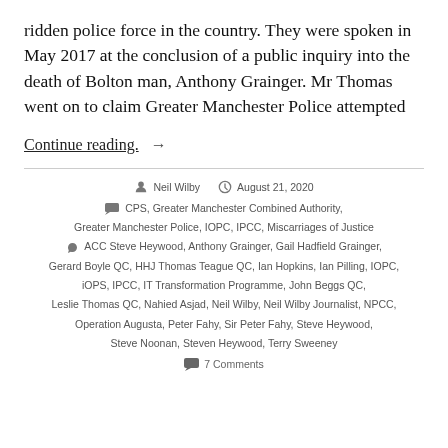ridden police force in the country. They were spoken in May 2017 at the conclusion of a public inquiry into the death of Bolton man, Anthony Grainger. Mr Thomas went on to claim Greater Manchester Police attempted
Continue reading. →
Neil Wilby  August 21, 2020  CPS, Greater Manchester Combined Authority, Greater Manchester Police, IOPC, IPCC, Miscarriages of Justice  ACC Steve Heywood, Anthony Grainger, Gail Hadfield Grainger, Gerard Boyle QC, HHJ Thomas Teague QC, Ian Hopkins, Ian Pilling, IOPC, iOPS, IPCC, IT Transformation Programme, John Beggs QC, Leslie Thomas QC, Nahied Asjad, Neil Wilby, Neil Wilby Journalist, NPCC, Operation Augusta, Peter Fahy, Sir Peter Fahy, Steve Heywood, Steve Noonan, Steven Heywood, Terry Sweeney  7 Comments